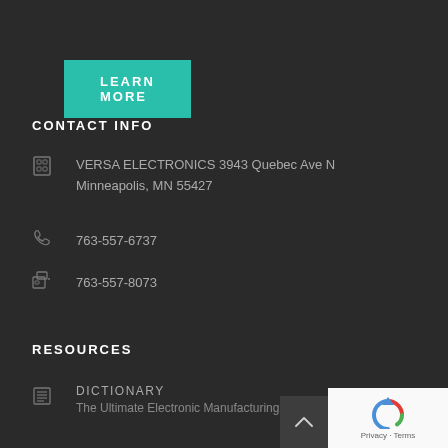[Figure (other): Teal/green 'LEARN MORE' button]
CONTACT INFO
VERSA ELECTRONICS 3943 Quebec Ave N Minneapolis, MN 55427
763-557-6737
763-557-8073
RESOURCES
DICTIONARY
The Ultimate Electronic Manufacturing Dicti...